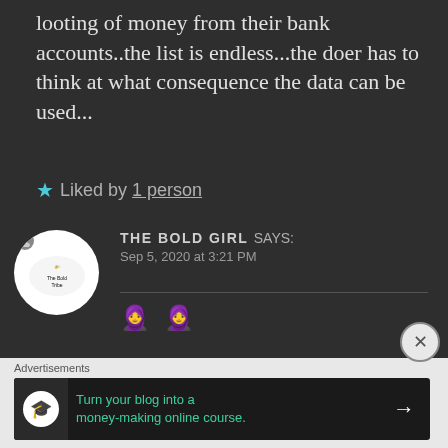looting of money from their bank accounts..the list is endless...the doer has to think at what consequence the data can be used...
★ Liked by 1 person
[Figure (logo): The Bold Girl blog avatar - circular logo with helicopter and text]
THE BOLD GIRL says: Sep 5, 2020 at 3:21 PM
🧕 🧕
Advertisements
[Figure (screenshot): Advertisement banner: Turn your blog into a money-making online course. with arrow button]